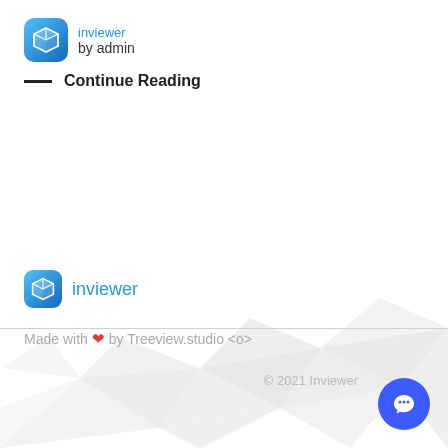by admin
inviewer
Continue Reading
inviewer
Made with ❤ by Treeview.studio <o>
© 2021 Inviewer